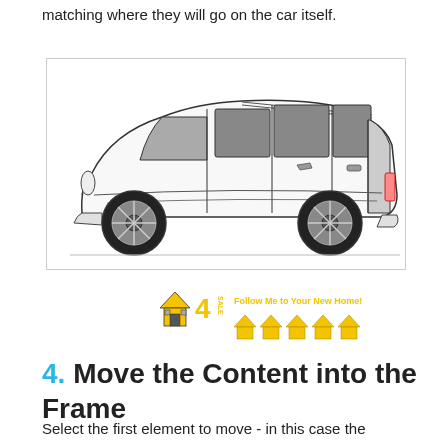matching where they will go on the car itself.
[Figure (illustration): Side-view line drawing of a minivan (Toyota Sienna style) with tinted windows, shown in profile on white background within a light-bordered rectangle.]
[Figure (logo): Real estate car magnet graphic: '4 SALE' logo with house icon on left, yellow text 'Follow Me to Your New Home!' and row of illustrated yellow houses on right.]
4. Move the Content into the Frame
Select the first element to move - in this case the